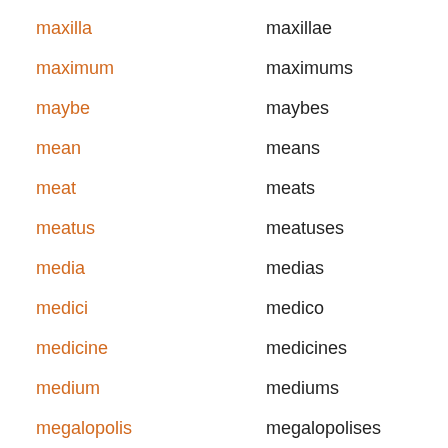maxilla — maxillae
maximum — maximums
maybe — maybes
mean — means
meat — meats
meatus — meatuses
media — medias
medici — medico
medicine — medicines
medium — mediums
megalopolis — megalopolises